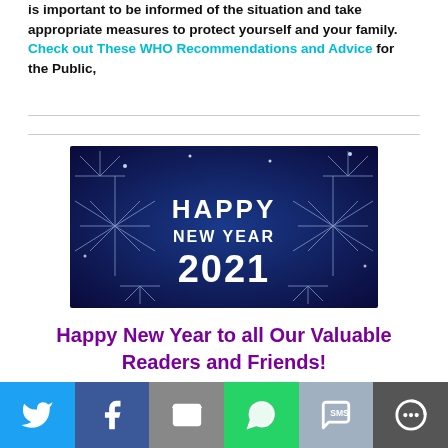is important to be informed of the situation and take appropriate measures to protect yourself and your family. Check out These WHO Recommendations and Advice for the Public,
[Figure (illustration): Happy New Year 2021 banner image with blue background, fireworks, and white text reading HAPPY NEW YEAR 2021]
Happy New Year to all Our Valuable Readers and Friends!
[Figure (infographic): Social sharing bar with Twitter, Facebook, Email, WhatsApp, SMS, and More buttons]